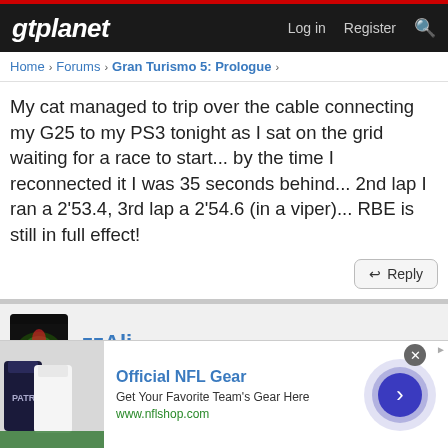gtplanet — Log in  Register
Home › Forums › Gran Turismo 5: Prologue ›
My cat managed to trip over the cable connecting my G25 to my PS3 tonight as I sat on the grid waiting for a race to start... by the time I reconnected it I was 35 seconds behind... 2nd lap I ran a 2'53.4, 3rd lap a 2'54.6 (in a viper)... RBE is still in full effect!
Reply
zzAli
Aug 28, 2008  #385
[Figure (photo): Advertisement for Official NFL Gear with team jerseys image and arrow button]
Official NFL Gear
Get Your Favorite Team's Gear Here
www.nflshop.com